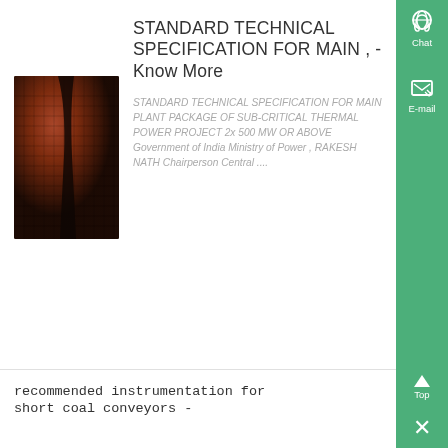[Figure (photo): Close-up photo of a mesh/wire grid material with dark reddish-brown metallic texture, possibly a conveyor or industrial mesh component.]
STANDARD TECHNICAL SPECIFICATION FOR MAIN , - Know More
STANDARD TECHNICAL SPECIFICATION FOR MAIN PLANT PACKAGE OF SUB-CRITICAL THERMAL POWER PROJECT 2x 500 MW OR ABOVE Government of India Ministry of Power , RAKESH NATH Chairperson Central ....
recommended instrumentation for short coal conveyors -